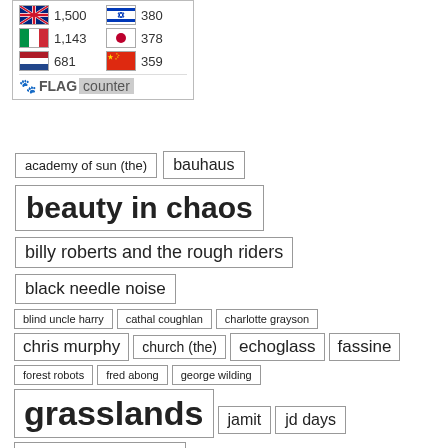[Figure (other): Flag counter widget showing country flags with visitor counts: 1,500 (Australia/unknown), 380 (Israel), 1,143 (Italy), 378 (Japan), 681 (Netherlands), 359 (China), with FLAG counter logo]
academy of sun (the)
bauhaus
beauty in chaos
billy roberts and the rough riders
black needle noise
blind uncle harry
cathal coughlan
charlotte grayson
chris murphy
church (the)
echoglass
fassine
forest robots
fred abong
george wilding
grasslands
jamit
jd days
judex (the)
julian shah-tayler
karda estra
michael ciravolo
mission (the)
moat
nelson king
nick hudson
paul lappin